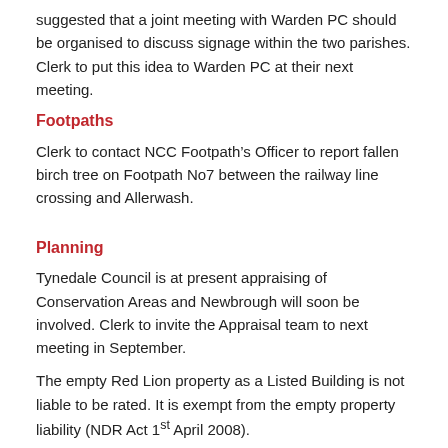suggested that a joint meeting with Warden PC should be organised to discuss signage within the two parishes.  Clerk to put this idea to Warden PC at their next meeting.
Footpaths
Clerk to contact NCC Footpath’s Officer to report fallen birch tree on Footpath No7 between the railway line crossing and Allerwash.
Planning
Tynedale Council is at present appraising of Conservation Areas and Newbrough will soon be involved.  Clerk to invite the Appraisal team to next meeting in September.
The empty Red Lion property as a Listed Building is not liable to be rated.  It is exempt from the empty property liability (NDR Act 1st April 2008).
20080118 Siting of Mobile Classroom, Newbrough CofE Aided First School NE47 5AQ